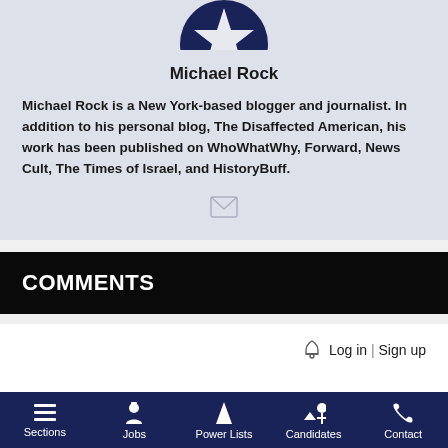[Figure (illustration): Star icon avatar in dark navy circle for Michael Rock]
Michael Rock
Michael Rock is a New York-based blogger and journalist. In addition to his personal blog, The Disaffected American, his work has been published on WhoWhatWhy, Forward, News Cult, The Times of Israel, and HistoryBuff.
[Figure (illustration): Email envelope icon]
COMMENTS
Log in | Sign up
Sections | Jobs | Power Lists | Candidates | Contact